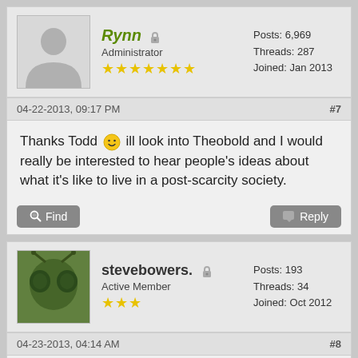Rynn — Administrator — Posts: 6,969 — Threads: 287 — Joined: Jan 2013
04-22-2013, 09:17 PM  #7
Thanks Todd :) ill look into Theobold and I would really be interested to hear people's ideas about what it's like to live in a post-scarcity society.
stevebowers. — Active Member — Posts: 193 — Threads: 34 — Joined: Oct 2012
04-23-2013, 04:14 AM  #8
One of the systems I intend to describe in some detail is the double planet Nele and Nete (originally named Helen and Clytemnestra); these two worlds are roughly similar